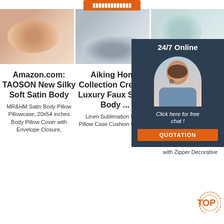[Figure (screenshot): Orange button at top of page]
[Figure (photo): Three product photos: fluffy pink pillows, grey faux fur rug, teal/mint round pillow]
[Figure (infographic): 24/7 Online chat widget with agent photo and QUOTATION button overlay on right side]
Amazon.com: TAOSON New Silky Soft Satin Body
MR&HM Satin Body Pillow Pillowcase, 20x54 inches Body Pillow Cover with Envelope Closure,
Aiking Home Collection Creative Luxury Faux Suede Body ...
Linen Sublimation Blank Pillow Case Cushion Covers .
Ama Wo Cov Co T Pillow
Buy Wolla-ST Cow Print Cowhide Throw Pillow Cover with Zipper Decorative